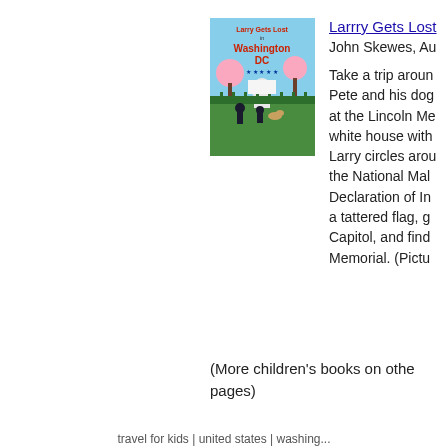[Figure (illustration): Book cover of 'Larry Gets Lost in Washington DC' showing illustrated children and a dog in front of a green fence with the Capitol building in the background, cherry blossoms visible]
Larrry Gets Lost in Washington DC
John Skewes, Au
Take a trip aroun Pete and his dog at the Lincoln Me white house with Larry circles aro the National Mal Declaration of In a tattered flag, g Capitol, and find Memorial. (Pictu
(More children's books on othe pages)
travel for kids | united states | washing...